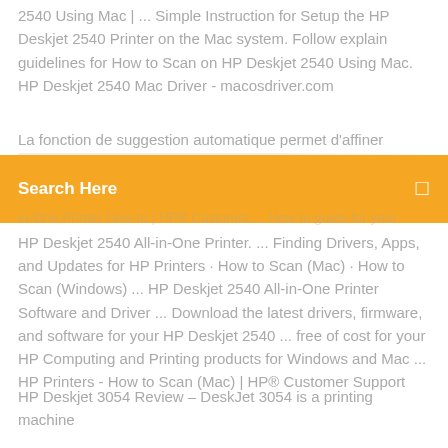2540 Using Mac | ... Simple Instruction for Setup the HP Deskjet 2540 Printer on the Mac system. Follow explain guidelines for How to Scan on HP Deskjet 2540 Using Mac. HP Deskjet 2540 Mac Driver - macosdriver.com
La fonction de suggestion automatique permet d'affiner
[Figure (screenshot): Orange search bar with text 'Search Here' and a search icon on the right]
in-One Printer How to | HP® Customer ... How to guide for your HP Deskjet 2540 All-in-One Printer. ... Finding Drivers, Apps, and Updates for HP Printers · How to Scan (Mac) · How to Scan (Windows)  ... HP Deskjet 2540 All-in-One Printer Software and Driver ... Download the latest drivers, firmware, and software for your HP Deskjet 2540 ... free of cost for your HP Computing and Printing products for Windows and Mac ... HP Printers - How to Scan (Mac) | HP® Customer Support
HP Deskjet 3054 Review – DeskJet 3054 is a printing machine